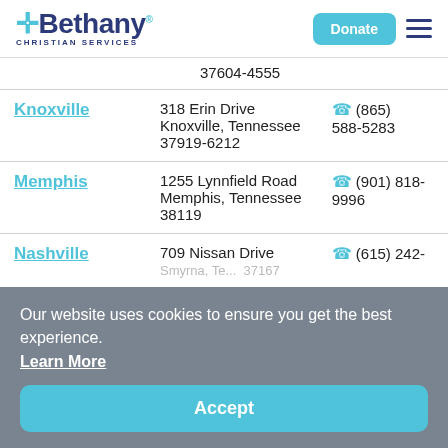Bethany Christian Services — Donate | menu
37604-4555
| Location | Address | Phone |
| --- | --- | --- |
| Knoxville | 318 Erin Drive
Knoxville, Tennessee
37919-6212 | (865) 588-5283 |
| Memphis | 1255 Lynnfield Road
Memphis, Tennessee
38119 | (901) 818-9996 |
| Nashville | 709 Nissan Drive
[partial] | (615) 242- |
Our website uses cookies to ensure you get the best experience.
Learn More
Accept